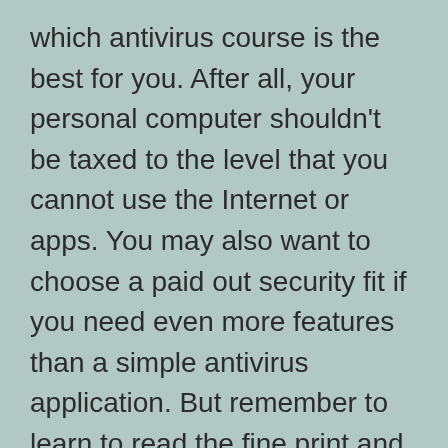which antivirus course is the best for you. After all, your personal computer shouldn't be taxed to the level that you cannot use the Internet or apps. You may also want to choose a paid out security fit if you need even more features than a simple antivirus application. But remember to learn to read the fine print and renew the subscription carefully. With all of the top ant-virus programs that can be found, you'll be thankful you hand picked the right product.